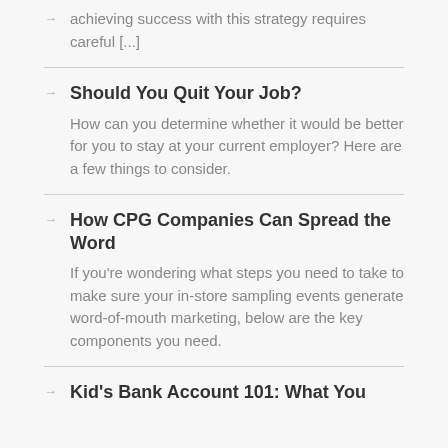achieving success with this strategy requires careful [...]
Should You Quit Your Job? — How can you determine whether it would be better for you to stay at your current employer? Here are a few things to consider.
How CPG Companies Can Spread the Word — If you're wondering what steps you need to take to make sure your in-store sampling events generate word-of-mouth marketing, below are the key components you need.
Kid's Bank Account 101: What You